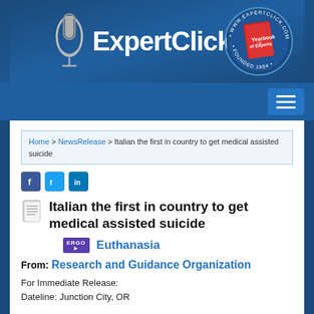[Figure (logo): ExpertClick website header banner with microphone icon, ExpertClick text in white, and circular Yearbook of Experts seal on the right]
Home > NewsRelease > Italian the first in country to get medical assisted suicide
[Figure (infographic): Social sharing icons: Facebook (blue f), Twitter (light blue t), LinkedIn (blue in)]
Italian the first in country to get medical assisted suicide
Euthanasia
From: Research and Guidance Organization
For Immediate Release:
Dateline: Junction City, OR